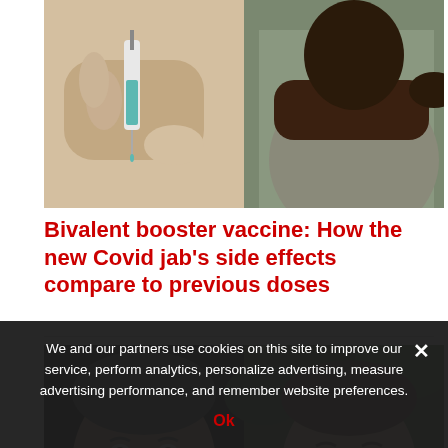[Figure (photo): Split image: left side shows a syringe being inserted into skin; right side shows a person holding their arm/shoulder]
Bivalent booster vaccine: How the new Covid jab’s side effects compare to previous doses
[Figure (photo): Two men’s faces side by side, composite photo, dark background on left and green foliage on right]
We and our partners use cookies on this site to improve our service, perform analytics, personalize advertising, measure advertising performance, and remember website preferences.
Ok